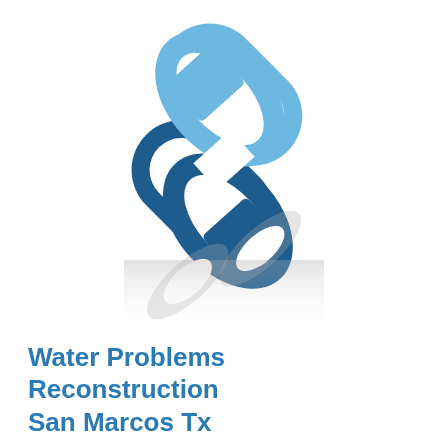[Figure (logo): Two interlocking chain links logo: one dark blue link (lower-left) and one light blue link (upper-right), rotated diagonally at about 45 degrees, with a faint grey reflection/shadow below the logo.]
Water Problems Reconstruction San Marcos Tx